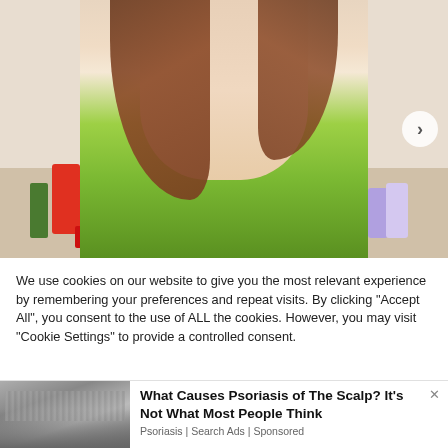[Figure (photo): A young woman with long brown hair wearing a sparkly green halter top, photographed from the waist up in a room with various items on a shelf in the background including a Buddha statue, plants, skincare products, and bobblehead figures. A navigation arrow (>) is visible on the right side.]
We use cookies on our website to give you the most relevant experience by remembering your preferences and repeat visits. By clicking "Accept All", you consent to the use of ALL the cookies. However, you may visit "Cookie Settings" to provide a controlled consent.
[Figure (photo): Close-up photo of a person's head/scalp showing psoriasis or similar scalp condition, used as the thumbnail for an advertisement.]
What Causes Psoriasis of The Scalp? It's Not What Most People Think
Psoriasis | Search Ads | Sponsored